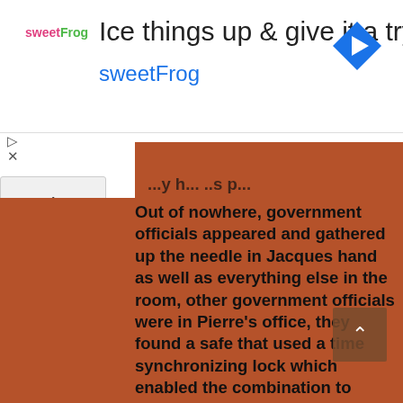[Figure (screenshot): sweetFrog advertisement banner with logo, tagline 'Ice things up & give it a try', and navigation arrow icon]
Out of nowhere, government officials appeared and gathered up the needle in Jacques hand as well as everything else in the room, other government officials were in Pierre's office, they found a safe that used a time synchronizing lock which enabled the combination to change every 60 seconds, a expert was called in, he used a an hand held wireless monitor to read the current combination, within 60 seconds, before the combination changed again, the safe was opened and the artifacts were retrieved. Classified documents and